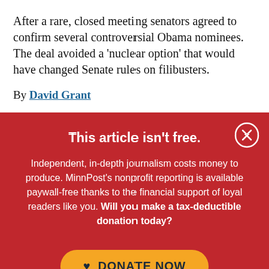After a rare, closed meeting senators agreed to confirm several controversial Obama nominees. The deal avoided a ‘nuclear option’ that would have changed Senate rules on filibusters.
By David Grant
This article isn't free.
Independent, in-depth journalism costs money to produce. MinnPost’s nonprofit reporting is available paywall-free thanks to the financial support of loyal readers like you. Will you make a tax-deductible donation today?
DONATE NOW